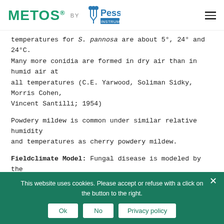METOS® BY Pessl Instruments
temperatures for S. pannosa are about 5°, 24° and 24°C. Many more conidia are formed in dry air than in humid air at all temperatures (C.E. Yarwood, Soliman Sidky, Morris Cohen, Vincent Santilli; 1954)
Powdery mildew is common under similar relative humidity and temperatures as cherry powdery mildew.
Fieldclimate Model: Fungal disease is modeled by the factors temperature and duration of leaf wetness. For example on May 11th the leaf wetness period under
This website uses cookies. Please accept or refuse with a click on the button to the right.